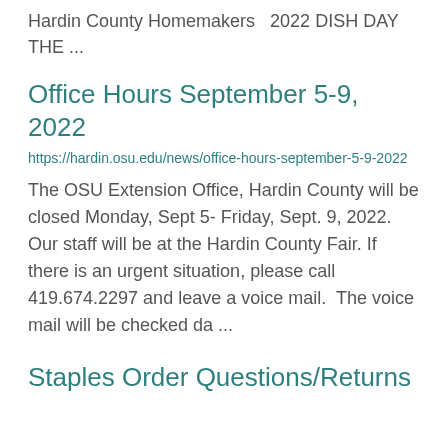Hardin County Homemakers  2022 DISH DAY THE ...
Office Hours September 5-9, 2022
https://hardin.osu.edu/news/office-hours-september-5-9-2022
The OSU Extension Office, Hardin County will be closed Monday, Sept 5- Friday, Sept. 9, 2022. Our staff will be at the Hardin County Fair. If there is an urgent situation, please call 419.674.2297 and leave a voice mail.  The voice mail will be checked da ...
Staples Order Questions/Returns